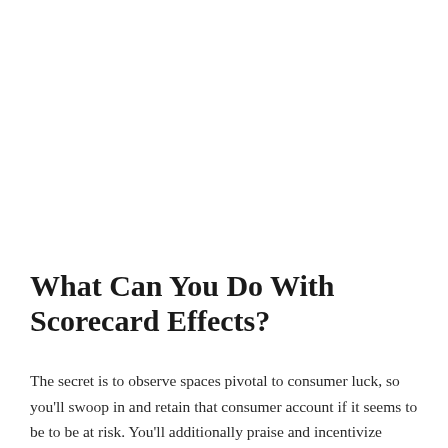What Can You Do With Scorecard Effects?
The secret is to observe spaces pivotal to consumer luck, so you'll swoop in and retain that consumer account if it seems to be to be at risk. You'll additionally praise and incentivize purchasers and upsell to them.